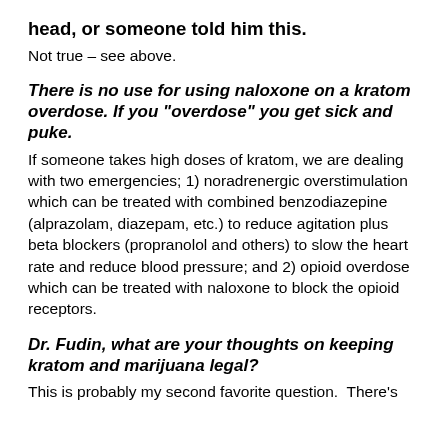head, or someone told him this.
Not true – see above.
There is no use for using naloxone on a kratom overdose. If you "overdose" you get sick and puke.
If someone takes high doses of kratom, we are dealing with two emergencies; 1) noradrenergic overstimulation which can be treated with combined benzodiazepine (alprazolam, diazepam, etc.) to reduce agitation plus beta blockers (propranolol and others) to slow the heart rate and reduce blood pressure; and 2) opioid overdose which can be treated with naloxone to block the opioid receptors.
Dr. Fudin, what are your thoughts on keeping kratom and marijuana legal?
This is probably my second favorite question.  There's